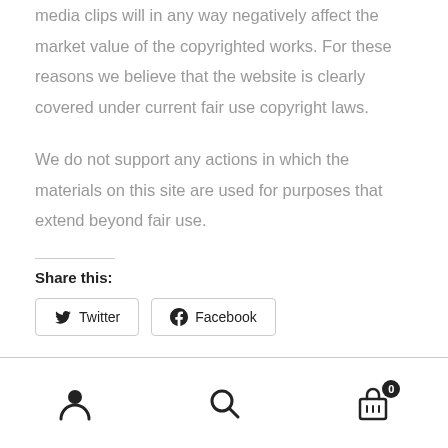media clips will in any way negatively affect the market value of the copyrighted works. For these reasons we believe that the website is clearly covered under current fair use copyright laws.
We do not support any actions in which the materials on this site are used for purposes that extend beyond fair use.
Share this:
Twitter  Facebook
[Figure (infographic): Bottom navigation bar with user/account icon, search icon, and shopping cart icon with badge showing 0]